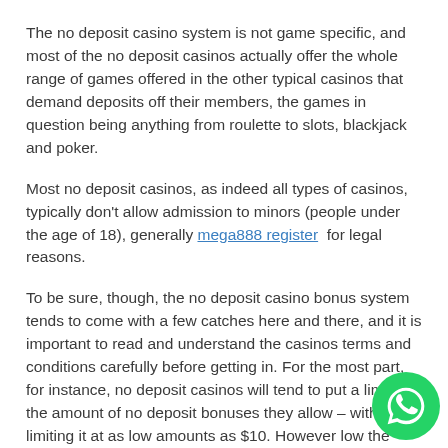The no deposit casino system is not game specific, and most of the no deposit casinos actually offer the whole range of games offered in the other typical casinos that demand deposits off their members, the games in question being anything from roulette to slots, blackjack and poker.
Most no deposit casinos, as indeed all types of casinos, typically don't allow admission to minors (people under the age of 18), generally mega888 register for legal reasons.
To be sure, though, the no deposit casino bonus system tends to come with a few catches here and there, and it is important to read and understand the casinos terms and conditions carefully before getting in. For the most part, for instance, no deposit casinos will tend to put a limit to the amount of no deposit bonuses they allow – with some limiting it at as low amounts as $10. However low the amount that the no deposit casino bonus is, though, it is still